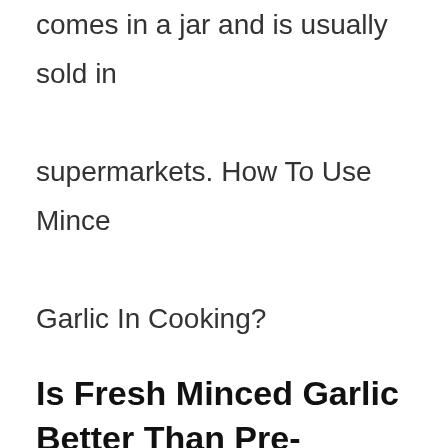comes in a jar and is usually sold in supermarkets. How To Use Mince Garlic In Cooking?
Is Fresh Minced Garlic Better Than Pre-Packaged Fresh Garlic?
Minced garlic is available in jars in the supermarket. It is easy to use and store. It does not require any cutting or